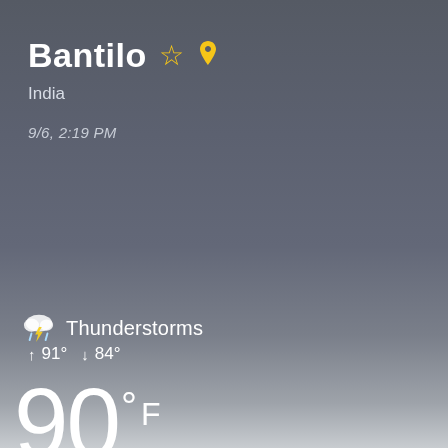Bantilo
India
9/6, 2:19 PM
[Figure (illustration): Thunderstorm weather icon — cloud with lightning bolt and rain drops]
Thunderstorms
↑ 91° ↓ 84°
90°F